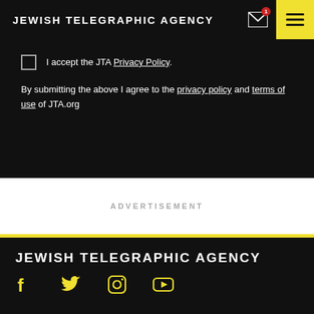JEWISH TELEGRAPHIC AGENCY
I accept the JTA Privacy Policy.
By submitting the above I agree to the privacy policy and terms of use of JTA.org
ADVERTISEMENT
JEWISH TELEGRAPHIC AGENCY
[Figure (other): Social media icons: Facebook, Twitter, Instagram, YouTube in yellow on black background]